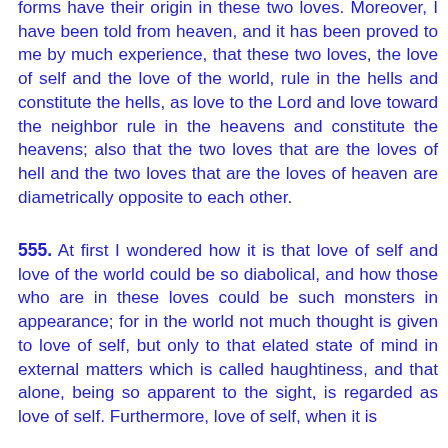forms have their origin in these two loves. Moreover, I have been told from heaven, and it has been proved to me by much experience, that these two loves, the love of self and the love of the world, rule in the hells and constitute the hells, as love to the Lord and love toward the neighbor rule in the heavens and constitute the heavens; also that the two loves that are the loves of hell and the two loves that are the loves of heaven are diametrically opposite to each other.
555. At first I wondered how it is that love of self and love of the world could be so diabolical, and how those who are in these loves could be such monsters in appearance; for in the world not much thought is given to love of self, but only to that elated state of mind in external matters which is called haughtiness, and that alone, being so apparent to the sight, is regarded as love of self. Furthermore, love of self, when it is